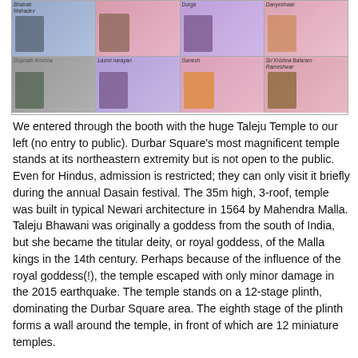[Figure (photo): Grid of temple photos with colored backgrounds labeled: Bhairab Mahadev (blue top-left), Durga (lavender top-center-left), Danyeshwar (pink top-right), Gopnath Krishna (gray bottom-left), Laxmi narayan (lavender bottom-center-left), Ganesh (pink bottom-center-right), Sri Krishna Balaram Rameshwar (rose bottom-right)]
We entered through the booth with the huge Taleju Temple to our left (no entry to public). Durbar Square's most magnificent temple stands at its northeastern extremity but is not open to the public. Even for Hindus, admission is restricted; they can only visit it briefly during the annual Dasain festival. The 35m high, 3-roof, temple was built in typical Newari architecture in 1564 by Mahendra Malla. Taleju Bhawani was originally a goddess from the south of India, but she became the titular deity, or royal goddess, of the Malla kings in the 14th century. Perhaps because of the influence of the royal goddess(!), the temple escaped with only minor damage in the 2015 earthquake. The temple stands on a 12-stage plinth, dominating the Durbar Square area. The eighth stage of the plinth forms a wall around the temple, in front of which are 12 miniature temples.
[Figure (photo): Photograph of a multi-tiered Newari pagoda temple (Taleju Temple) against a gray sky, showing the characteristic stepped roofs in dark wood]